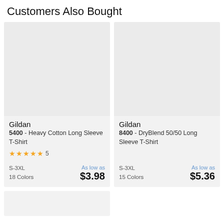Customers Also Bought
[Figure (photo): Product image placeholder (light gray rectangle) for Gildan 5400 Heavy Cotton Long Sleeve T-Shirt]
Gildan
5400 - Heavy Cotton Long Sleeve T-Shirt
★★★★½ 5
S-3XL
18 Colors
As low as
$3.98
[Figure (photo): Product image placeholder (light gray rectangle) for Gildan 8400 DryBlend 50/50 Long Sleeve T-Shirt]
Gildan
8400 - DryBlend 50/50 Long Sleeve T-Shirt
S-3XL
15 Colors
As low as
$5.36
[Figure (photo): Product image placeholder (light gray rectangle) — partially visible at bottom]